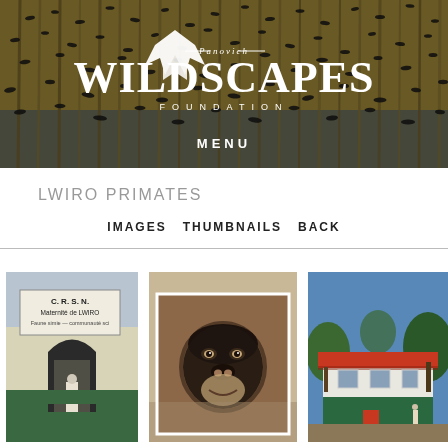[Figure (photo): Header banner showing birds in flight over reeds/marsh vegetation with Panovich Wildscapes Foundation logo and MENU text overlaid in white]
LWIRO PRIMATES
IMAGES   THUMBNAILS   BACK
[Figure (photo): Thumbnail image 1: CRSN Maternite de Lwiro building entrance with sign reading 'C.R.S.N. Maternite de Lwiro Faune simie - communaute sci' with arched doorway and person standing inside]
[Figure (photo): Thumbnail image 2: Close-up of a young chimpanzee face]
[Figure (photo): Thumbnail image 3: White building with green lower half and red/orange roof surrounded by green trees]